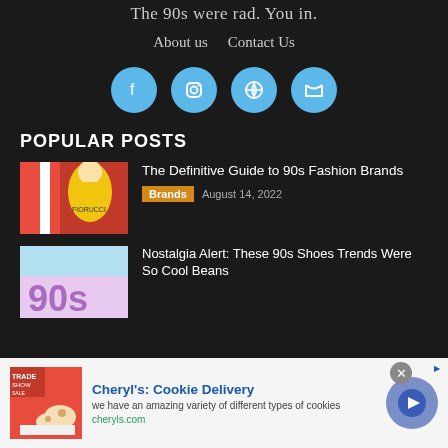The 90s were rad. You in.
About us   Contact Us
[Figure (infographic): Four social media icons (Facebook, Instagram, Pinterest, Twitter) as blue circles with white icons]
POPULAR POSTS
[Figure (photo): Thumbnail of person in yellow shirt with red and white striped background, 90s fashion]
The Definitive Guide to 90s Fashion Brands
Brands   August 14, 2022
[Figure (photo): Thumbnail with '90s' text in purple on colorful background]
Nostalgia Alert: These 90s Shoes Trends Were So Cool Beans
[Figure (infographic): Advertisement banner for Cheryl's Cookie Delivery with cookie image, text, and CTA button]